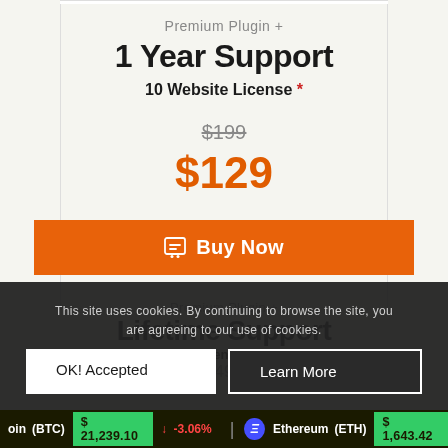Premium Plugin +
1 Year Support
10 Website License *
$199
$129
🛒 Buy Now
This site uses cookies. By continuing to browse the site, you are agreeing to our use of cookies.
OK! Accepted
Learn More
Premium Plugin +
Lifetime Support
License *
$499
oin (BTC)   $21,239.10  ↓ -3.06%    Ethereum (ETH)  $1,643.42